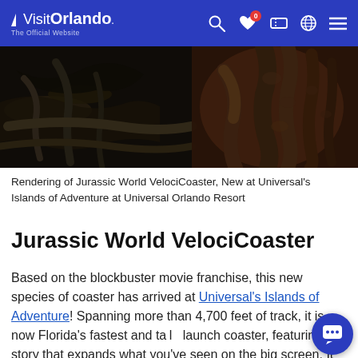VisitOrlando – The Official Website
[Figure (photo): Dark image of roller coaster track elements on the left and dinosaur legs (raptor) on the right, rendering of Jurassic World VelociCoaster]
Rendering of Jurassic World VelociCoaster, New at Universal's Islands of Adventure at Universal Orlando Resort
Jurassic World VelociCoaster
Based on the blockbuster movie franchise, this new species of coaster has arrived at Universal's Islands of Adventure! Spanning more than 4,700 feet of track, it is now Florida's fastest and tallest launch coaster, featuring a story that expands what you've seen on the big screen. It also boasts